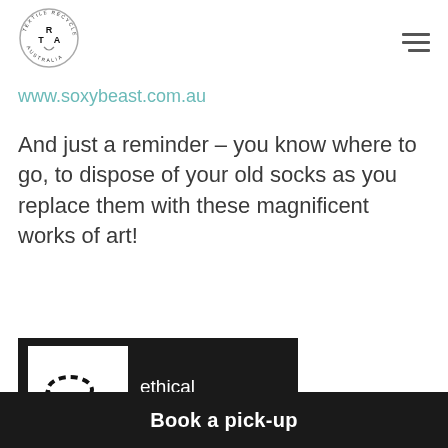[Figure (logo): Textile Recycler Australia (RTA) circular logo with text around the border]
[Figure (logo): Hamburger menu icon (three horizontal lines)]
www.soxybeast.com.au
And just a reminder – you know where to go, to dispose of your old socks as you replace them with these magnificent works of art!
[Figure (logo): Ethical Clothing Australia logo on black background — dashed thread/needle forming an 'e' shape on white square, text 'ethical clothing AUSTRALIA']
Book a pick-up